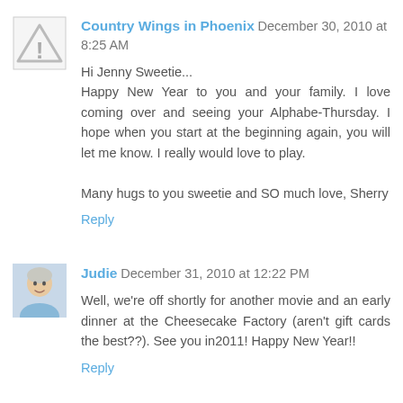Country Wings in Phoenix  December 30, 2010 at 8:25 AM

Hi Jenny Sweetie...
Happy New Year to you and your family. I love coming over and seeing your Alphabe-Thursday. I hope when you start at the beginning again, you will let me know. I really would love to play.

Many hugs to you sweetie and SO much love, Sherry

Reply
[Figure (illustration): Warning/alert triangle icon with exclamation mark, gray border]
[Figure (photo): Small avatar photo of Judie, a woman with gray/white hair]
Judie  December 31, 2010 at 12:22 PM

Well, we're off shortly for another movie and an early dinner at the Cheesecake Factory (aren't gift cards the best??). See you in2011! Happy New Year!!

Reply